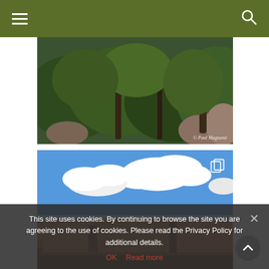Navigation bar with hamburger menu and search icon
[Figure (photo): Dense green forest with trees and rocks, photo credit: © Paul Magnanti]
[Figure (photo): Grand Canyon landscape with blue sky, white clouds, and red rock formations]
This site uses cookies. By continuing to browse the site you are agreeing to the use of cookies. Please read the Privacy Policy for additional details.
OK   Read more